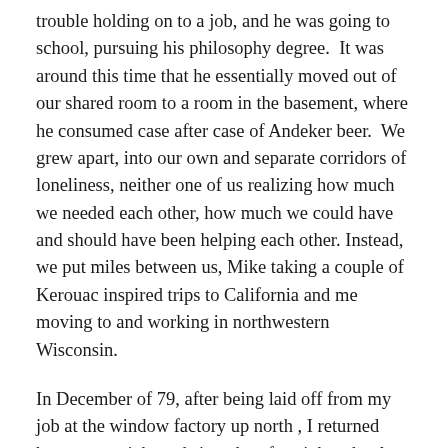trouble holding on to a job, and he was going to school, pursuing his philosophy degree.  It was around this time that he essentially moved out of our shared room to a room in the basement, where he consumed case after case of Andeker beer.  We grew apart, into our own and separate corridors of loneliness, neither one of us realizing how much we needed each other, how much we could have and should have been helping each other. Instead, we put miles between us, Mike taking a couple of Kerouac inspired trips to California and me moving to and working in northwestern Wisconsin.
In December of 79, after being laid off from my job at the window factory up north , I returned home, got a job, and signed up for night school, where I met my everything. In 1981, I married her; in 84, I started what would turn out to be a career in I.T.  Between 1985 and